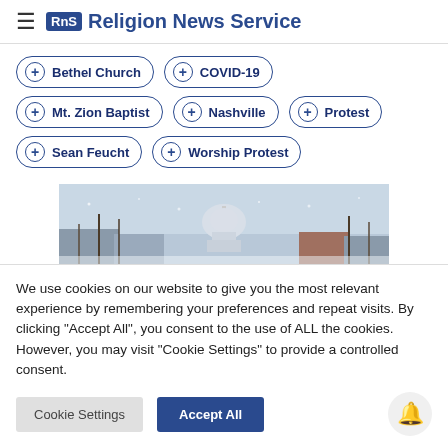RNS Religion News Service
+ Bethel Church
+ COVID-19
+ Mt. Zion Baptist
+ Nashville
+ Protest
+ Sean Feucht
+ Worship Protest
[Figure (photo): Snowy view of the US Capitol building through bare trees]
We use cookies on our website to give you the most relevant experience by remembering your preferences and repeat visits. By clicking "Accept All", you consent to the use of ALL the cookies. However, you may visit "Cookie Settings" to provide a controlled consent.